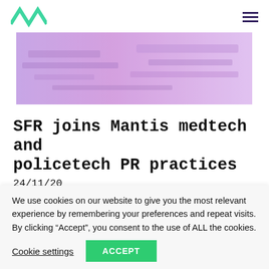Mantis PR – Navigation header with logo and menu
[Figure (photo): Hero image with a purple/violet-tinted photo of documents or papers on a desk, cropped horizontally.]
SFR joins Mantis medtech and policetech PR practices
24/11/20
Mantis begins work with its latest policetech and
We use cookies on our website to give you the most relevant experience by remembering your preferences and repeat visits. By clicking “Accept”, you consent to the use of ALL the cookies.
Cookie settings  ACCEPT